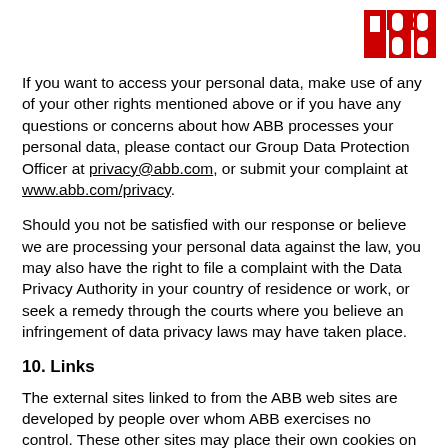[Figure (logo): ABB company logo — red letters A, B, B in bold on white background]
If you want to access your personal data, make use of any of your other rights mentioned above or if you have any questions or concerns about how ABB processes your personal data, please contact our Group Data Protection Officer at privacy@abb.com, or submit your complaint at www.abb.com/privacy.
Should you not be satisfied with our response or believe we are processing your personal data against the law, you may also have the right to file a complaint with the Data Privacy Authority in your country of residence or work, or seek a remedy through the courts where you believe an infringement of data privacy laws may have taken place.
10. Links
The external sites linked to from the ABB web sites are developed by people over whom ABB exercises no control. These other sites may place their own cookies on your computer, collect data or solicit personal